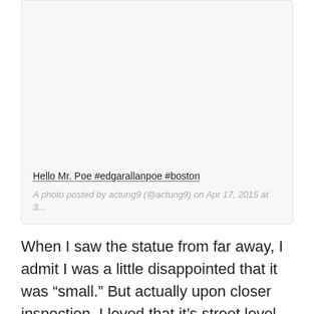[Figure (screenshot): Social media post card with light gray background. Contains a link title 'Hello Mr. Poe #edgarallanpoe #boston' with dotted underline, and attribution text 'A photo posted by actung9 (@actung9) on Apr 17, 2015 at 3...' in gray italic.]
When I saw the statue from far away, I admit I was a little disappointed that it was “small.” But actually upon closer inspection, I loved that it’s street level and person-sized.